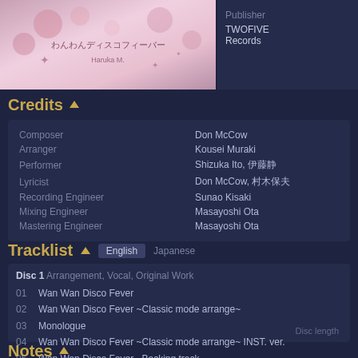[Figure (photo): Album art showing anime-style illustration with flowers and Japanese text]
Publisher: TWOFIVE / Records
Credits
| Role | Name |
| --- | --- |
| Composer | Don McCow |
| Arranger | Kousei Muraki |
| Performer | Shizuka Ito, 伊藤静 |
| Lyricist | Don McCow, 村木保夫 |
| Recording Engineer | Sunao Kisaki |
| Mixing Engineer | Masayoshi Ota |
| Mastering Engineer | Masayoshi Ota |
Tracklist
Disc 1 Arrangement, Vocal, Original Work
01  Wan Wan Disco Fever
02  Wan Wan Disco Fever ~Classic mode arrange~
03  Monologue
04  Wan Wan Disco Fever ~Classic mode arrange~ INST. ver.
05  Wan Wan Disco Fever ~Backing track~
Disc length
Notes